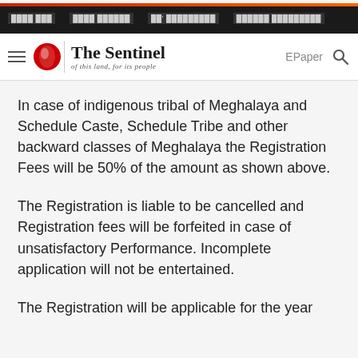The Sentinel — of this land, for its people
In case of indigenous tribal of Meghalaya and Schedule Caste, Schedule Tribe and other backward classes of Meghalaya the Registration Fees will be 50% of the amount as shown above.
The Registration is liable to be cancelled and Registration fees will be forfeited in case of unsatisfactory Performance. Incomplete application will not be entertained.
The Registration will be applicable for the year